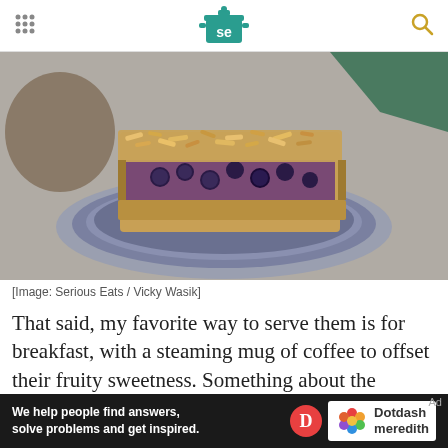Serious Eats logo and navigation
[Figure (photo): A blueberry oat bar on a ceramic plate, showing crumbly oat topping with whole blueberries and a jammy purple filling, on a gray background with a green cloth visible in upper right]
[Image: Serious Eats / Vicky Wasik]
That said, my favorite way to serve them is for breakfast, with a steaming mug of coffee to offset their fruity sweetness. Something about the combination of rolled oats and fruit just gives me
We help people find answers, solve problems and get inspired.